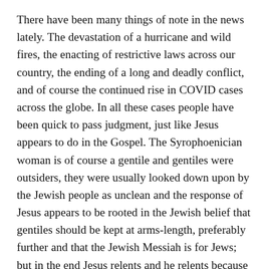There have been many things of note in the news lately. The devastation of a hurricane and wild fires, the enacting of restrictive laws across our country, the ending of a long and deadly conflict, and of course the continued rise in COVID cases across the globe. In all these cases people have been quick to pass judgment, just like Jesus appears to do in the Gospel. The Syrophoenician woman is of course a gentile and gentiles were outsiders, they were usually looked down upon by the Jewish people as unclean and the response of Jesus appears to be rooted in the Jewish belief that gentiles should be kept at arms-length, preferably further and that the Jewish Messiah is for Jews; but in the end Jesus relents and he relents because he realizes that it is not his place to limit who experiences God through his ministry, so he grants her request.